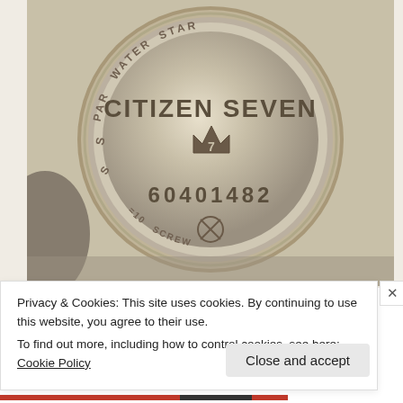[Figure (photo): Close-up photograph of the back of a Citizen Seven watch case. The circular metal case back shows embossed text reading 'CITIZEN SEVEN' with a crown logo containing the number 7, serial number '60401482', an encircled X symbol, and around the rim text reading 'PARA WATER STAR' and '5 ATM SCREW BACK'. The image is sepia-toned.]
Privacy & Cookies: This site uses cookies. By continuing to use this website, you agree to their use.
To find out more, including how to control cookies, see here: Cookie Policy